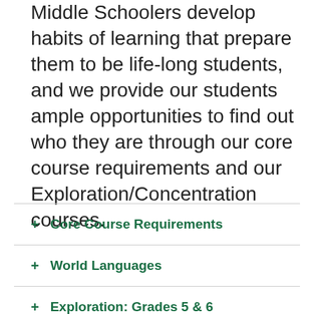Middle Schoolers develop habits of learning that prepare them to be life-long students, and we provide our students ample opportunities to find out who they are through our core course requirements and our Exploration/Concentration courses.
+ Core Course Requirements
+ World Languages
+ Exploration: Grades 5 & 6